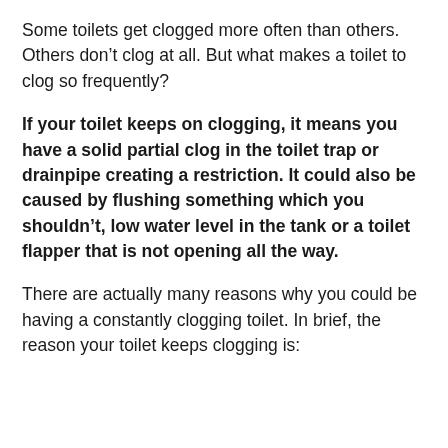Some toilets get clogged more often than others. Others don’t clog at all. But what makes a toilet to clog so frequently?
If your toilet keeps on clogging, it means you have a solid partial clog in the toilet trap or drainpipe creating a restriction. It could also be caused by flushing something which you shouldn’t, low water level in the tank or a toilet flapper that is not opening all the way.
There are actually many reasons why you could be having a constantly clogging toilet. In brief, the reason your toilet keeps clogging is: